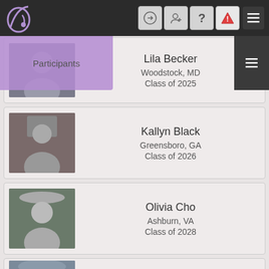Navigation bar with logo and icons
Participants
Lila Becker
Woodstock, MD
Class of 2025
Kallyn Black
Greensboro, GA
Class of 2026
Olivia Cho
Ashburn, VA
Class of 2028
Ava Cottis